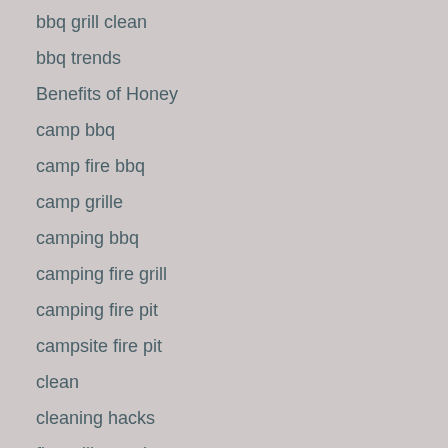bbq grill clean
bbq trends
Benefits of Honey
camp bbq
camp fire bbq
camp grille
camping bbq
camping fire grill
camping fire pit
campsite fire pit
clean
cleaning hacks
fire grill camping
Grill with Honey
Grilling hacks
Grilling Tips